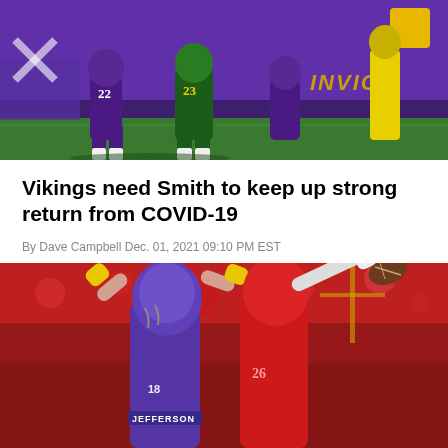[Figure (photo): Football game photo showing Minnesota Vikings players in purple uniforms on the field with Green Bay Packers players in green and yellow. Purple end zone backdrop with gold 'INVICE' branding visible on right. Players on green turf.]
Vikings need Smith to keep up strong return from COVID-19
By Dave Campbell Dec. 01, 2021 09:10 PM EST
[Figure (photo): Football action photo showing Minnesota Vikings player Justin Jefferson (#18) in purple uniform battling a Tampa Bay Buccaneers defender in red for a pass. Football visible in upper right corner. Red crowd in background.]